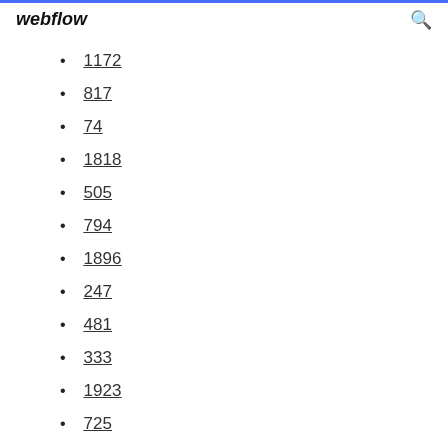webflow
1172
817
74
1818
505
794
1896
247
481
333
1923
725